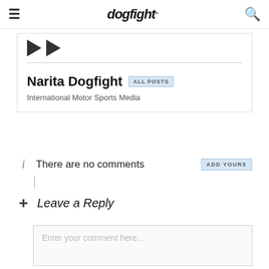dogfight
[Figure (logo): Narita Dogfight logo with play button triangles and horizontal divider]
Narita Dogfight
ALL POSTS
International Motor Sports Media
There are no comments
ADD YOURS
Leave a Reply
Enter your comment here...